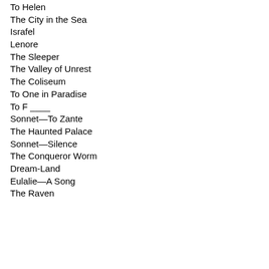To Helen
The City in the Sea
Israfel
Lenore
The Sleeper
The Valley of Unrest
The Coliseum
To One in Paradise
To F ____
Sonnet—To Zante
The Haunted Palace
Sonnet—Silence
The Conqueror Worm
Dream-Land
Eulalie—A Song
The Raven